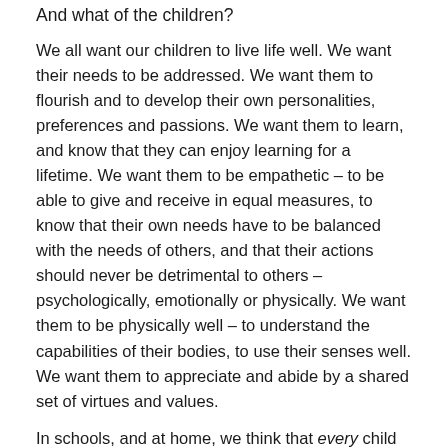And what of the children?
We all want our children to live life well. We want their needs to be addressed. We want them to flourish and to develop their own personalities, preferences and passions. We want them to learn, and know that they can enjoy learning for a lifetime. We want them to be empathetic – to be able to give and receive in equal measures, to know that their own needs have to be balanced with the needs of others, and that their actions should never be detrimental to others – psychologically, emotionally or physically. We want them to be physically well – to understand the capabilities of their bodies, to use their senses well. We want them to appreciate and abide by a shared set of virtues and values.
In schools, and at home, we think that every child has a right to the quality of education, care and attention